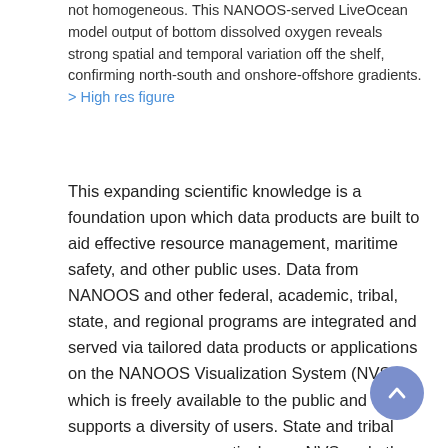not homogeneous. This NANOOS-served LiveOcean model output of bottom dissolved oxygen reveals strong spatial and temporal variation off the shelf, confirming north-south and onshore-offshore gradients. > High res figure
This expanding scientific knowledge is a foundation upon which data products are built to aid effective resource management, maritime safety, and other public uses. Data from NANOOS and other federal, academic, tribal, state, and regional programs are integrated and served via tailored data products or applications on the NANOOS Visualization System (NVS), which is freely available to the public and supports a diversity of users. State and tribal resource managers actively use NVS and other NANOOS products to inform decisions on whether to open a beach for clamming or defer crabbing effort. Shellfish growers access information about the present and forecasts of the degree of ocean acidification.